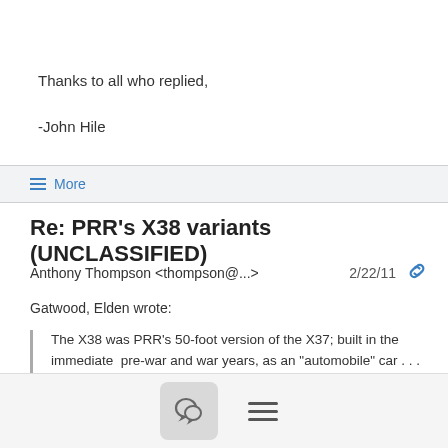Thanks to all who replied,
-John Hile
≡ More
Re: PRR's X38 variants (UNCLASSIFIED)
Anthony Thompson <thompson@...>  2/22/11
Gatwood, Elden wrote:
The X38 was PRR's 50-foot version of the X37; built in the immediate  pre-war and war years, as an "automobile" car . . . In fact, it was  much more.  Most X38's were found in dedicated service, with few  actually in automobile service